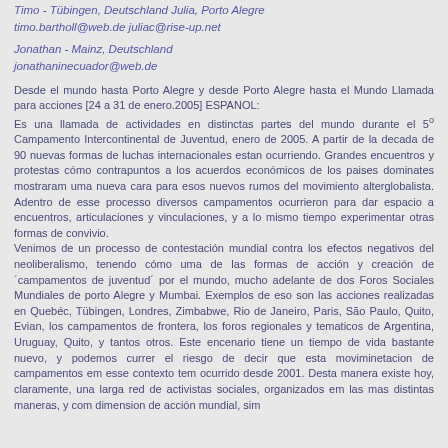Timo - Tübingen, Deutschland Julia, Porto Alegre
timo.bartholl@web.de juliac@rise-up.net
Jonathan - Mainz, Deutschland
jonathaninecuador@web.de
Desde el mundo hasta Porto Alegre y desde Porto Alegre hasta el Mundo Llamada para acciones [24 a 31 de enero.2005] ESPANOL:
Es una llamada de actividades en distinctas partes del mundo durante el 5º Campamento Intercontinental de Juventud, enero de 2005. A partir de la decada de 90 nuevas formas de luchas internacionales estan ocurriendo. Grandes encuentros y protestas cómo contrapuntos a los acuerdos económicos de los paises dominates mostraram uma nueva cara para esos nuevos rumos del movimiento alterglobalista. Adentro de esse processo diversos campamentos ocurrieron para dar espacio a encuentros, articulaciones y vinculaciones, y a lo mismo tiempo experimentar otras formas de convivio.
Venimos de un processo de contestación mundial contra los efectos negativos del neoliberalismo, tenendo cómo uma de las formas de acción y creación de ´campamentos de juventud´ por el mundo, mucho adelante de dos Foros Sociales Mundiales de porto Alegre y Mumbai. Exemplos de eso son las acciones realizadas en Quebéc, Tübingen, Londres, Zimbabwe, Rio de Janeiro, Paris, São Paulo, Quito, Evian, los campamentos de frontera, los foros regionales y tematicos de Argentina, Uruguay, Quito, y tantos otros. Este encenario tiene un tiempo de vida bastante nuevo, y podemos currer el riesgo de decir que esta moviminetacion de campamentos em esse contexto tem ocurrido desde 2001. Desta manera existe hoy, claramente, una larga red de activistas sociales, organizados em las mas distintas maneras, y com dimension de acción mundial, sim